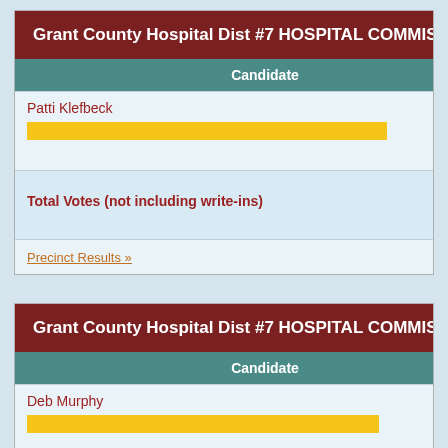| Candidate | Vote |
| --- | --- |
| Patti Klefbeck | 335 |
| Total Votes (not including write-ins) | 335 |
Precinct Results »
| Candidate | Vote |
| --- | --- |
| Deb Murphy | 322 |
| Total Votes (not including write-ins) | 322 |